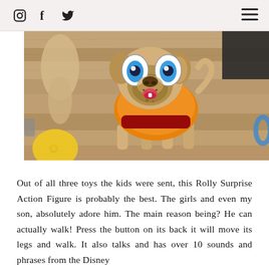Social media icons (Instagram, Facebook, Twitter) and hamburger menu
[Figure (photo): Close-up photo of a Rolly Surprise Action Figure toy (pug dog figurine with orange body, red collar, blue eyes, and pink tongue) on a wooden floor surface, with other toys visible in the background.]
Out of all three toys the kids were sent, this Rolly Surprise Action Figure is probably the best. The girls and even my son, absolutely adore him. The main reason being? He can actually walk! Press the button on its back it will move its legs and walk. It also talks and has over 10 sounds and phrases from the Disney